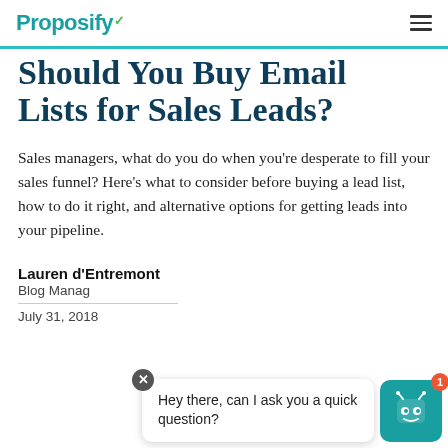Proposify
Should You Buy Email Lists for Sales Leads?
Sales managers, what do you do when you're desperate to fill your sales funnel? Here's what to consider before buying a lead list, how to do it right, and alternative options for getting leads into your pipeline.
Lauren d'Entremont
Blog Manager
July 31, 2018
[Figure (other): Chat widget overlay with bot icon and speech bubble saying 'Hey there, can I ask you a quick question?']